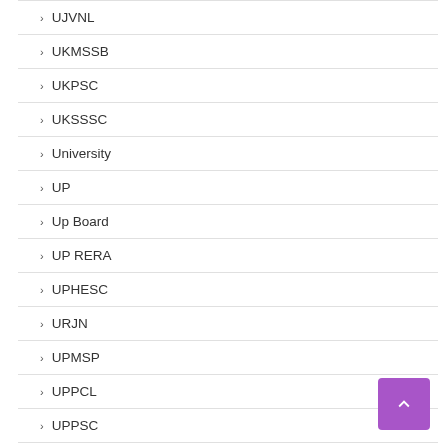UJVNL
UKMSSB
UKPSC
UKSSSC
University
UP
Up Board
UP RERA
UPHESC
URJN
UPMSP
UPPCL
UPPSC
UPRTOU
Uppvunl